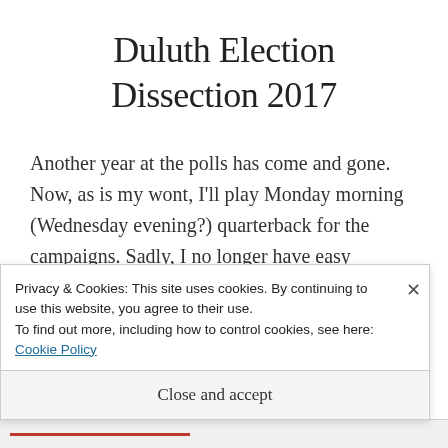Duluth Election Dissection 2017
Another year at the polls has come and gone. Now, as is my wont, I'll play Monday morning (Wednesday evening?) quarterback for the campaigns. Sadly, I no longer have easy
Privacy & Cookies: This site uses cookies. By continuing to use this website, you agree to their use.
To find out more, including how to control cookies, see here: Cookie Policy
Close and accept